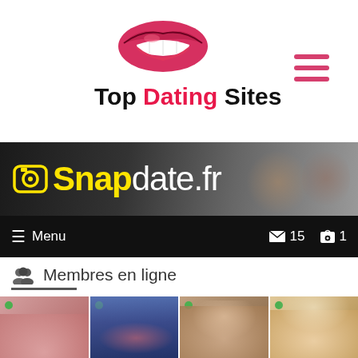[Figure (logo): Top Dating Sites logo with red lips illustration above the text 'Top Dating Sites' where 'Dating' is in red/pink and rest is black, with hamburger menu icon on right]
[Figure (screenshot): Screenshot of Snapdate.fr website showing the site banner with Snapdate.fr in yellow/white on dark background, a black menu bar showing Menu, envelope icon with 15, camera icon with 1, a 'Membres en ligne' section header with people icon, and blurred profile photos at bottom]
Snapdate.fr
Membres en ligne